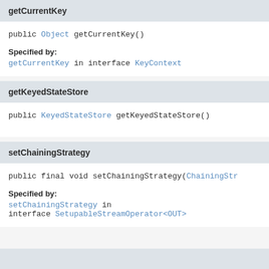getCurrentKey
public Object getCurrentKey()
Specified by:
getCurrentKey in interface KeyContext
getKeyedStateStore
public KeyedStateStore getKeyedStateStore()
setChainingStrategy
public final void setChainingStrategy(ChainingStr
Specified by:
setChainingStrategy in interface SetupableStreamOperator<OUT>